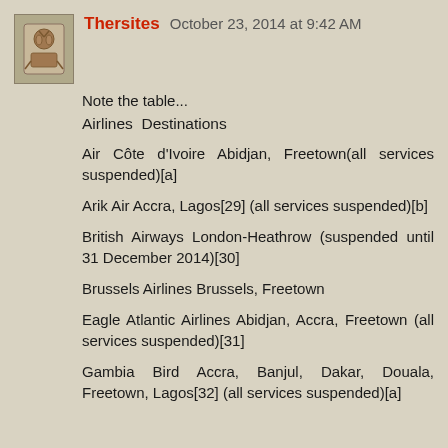Thersites  October 23, 2014 at 9:42 AM
Note the table...
Airlines Destinations
Air Côte d'Ivoire Abidjan, Freetown(all services suspended)[a]
Arik Air Accra, Lagos[29] (all services suspended)[b]
British Airways London-Heathrow (suspended until 31 December 2014)[30]
Brussels Airlines Brussels, Freetown
Eagle Atlantic Airlines Abidjan, Accra, Freetown (all services suspended)[31]
Gambia Bird Accra, Banjul, Dakar, Douala, Freetown, Lagos[32] (all services suspended)[a]